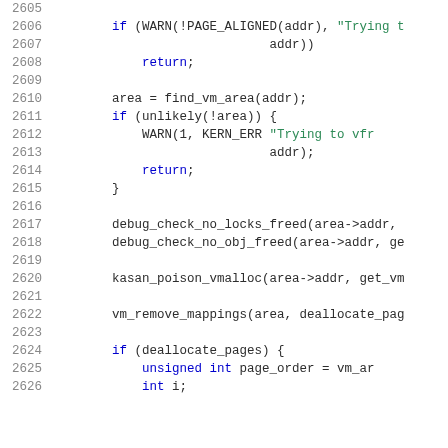Source code listing, lines 2605-2626, C kernel code